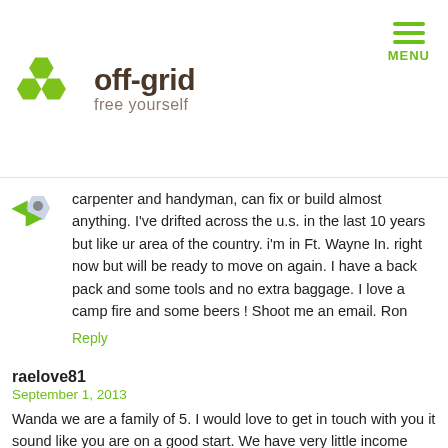off-grid free yourself
carpenter and handyman, can fix or build almost anything. I've drifted across the u.s. in the last 10 years but like ur area of the country. i'm in Ft. Wayne In. right now but will be ready to move on again. I have a back pack and some tools and no extra baggage. I love a camp fire and some beers ! Shoot me an email. Ron
Reply
raelove81
September 1, 2013
Wanda we are a family of 5. I would love to get in touch with you it sound like you are on a good start. We have very little income however I have my very own Macgyver husband. We have a popup camper that is packed and ready to go. We both garden and can. I want to build an earthship (My dream) I love glass bottles. If you are still looking please get in